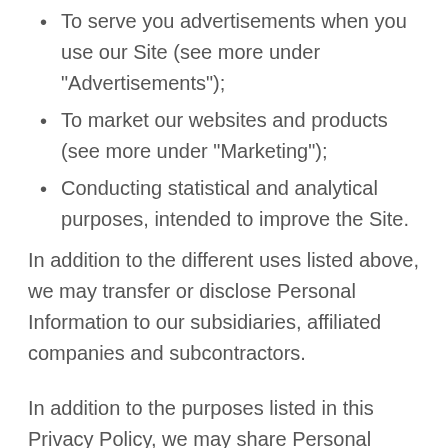To serve you advertisements when you use our Site (see more under “Advertisements”);
To market our websites and products (see more under “Marketing”);
Conducting statistical and analytical purposes, intended to improve the Site.
In addition to the different uses listed above, we may transfer or disclose Personal Information to our subsidiaries, affiliated companies and subcontractors.
In addition to the purposes listed in this Privacy Policy, we may share Personal Information with our trusted third party providers, who may be located in different